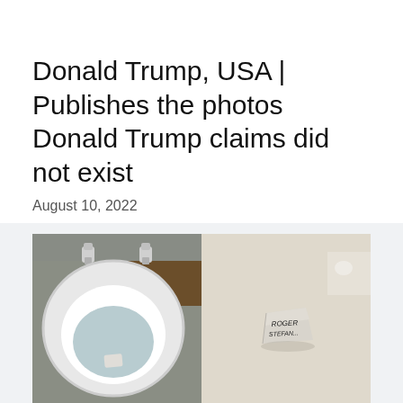Donald Trump, USA | Publishes the photos Donald Trump claims did not exist
August 10, 2022
[Figure (photo): Two side-by-side photos: left shows a white toilet bowl viewed from above with a small piece of paper at the bottom; right shows a close-up of that piece of paper with handwritten text reading 'ROGER STEFAN' or similar.]